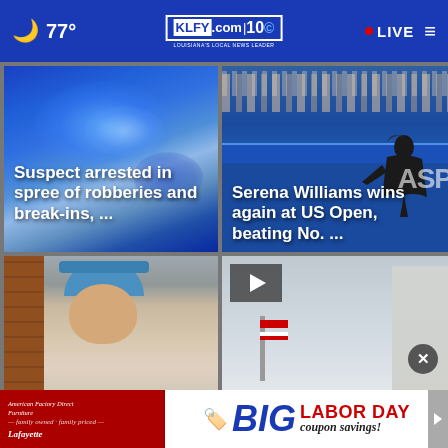KLFY.com 10 — 77° — LIVE
[Figure (photo): Police car with blue flashing lights, blurred background. Headline overlay: Suspect arrested in spree of robberies and break-ins, ...]
[Figure (photo): Serena Williams playing at US Open tennis with crowd in background. Headline overlay: Serena Williams wins again at US Open, beating No. ...]
[Figure (photo): Person in blue cap against brick wall background.]
[Figure (screenshot): Video thumbnail with play button and close button. US flag visible. Advertisement banner: BIG LABOR DAY coupon savings! — American Factory Direct Furniture, Lafayette.]